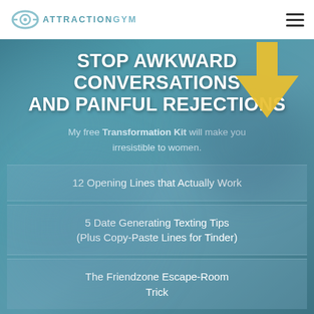ATTRACTIONGYM
STOP AWKWARD CONVERSATIONS AND PAINFUL REJECTIONS
My free Transformation Kit will make you irresistible to women.
12 Opening Lines that Actually Work
5 Date Generating Texting Tips (Plus Copy-Paste Lines for Tinder)
The Friendzone Escape-Room Trick